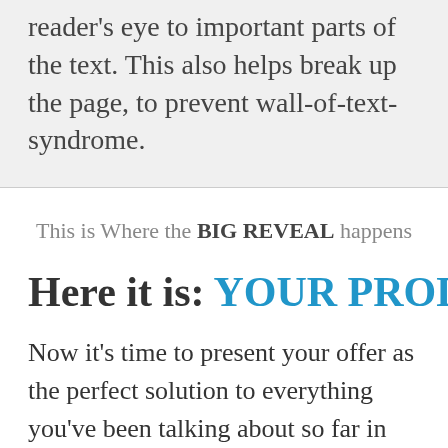reader's eye to important parts of the text. This also helps break up the page, to prevent wall-of-text-syndrome.
This is Where the BIG REVEAL happens
Here it is: YOUR PRODUCT NAME
Now it's time to present your offer as the perfect solution to everything you've been talking about so far in your story.